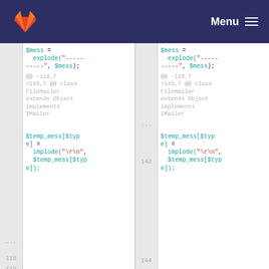GitLab — Menu
[Figure (screenshot): A GitLab diff view showing two columns of code. Left column shows old line 118 with $mess = explode("-----", $mess); and diff hunk header @@ -118,7 +143,7 @@ class FileMailer extends Object implements IMailer. Right column shows new line 143 with the same. Below, left line 119 and right line 144 both show $temp_mess[$type] = implode("\r\n", $temp_mess[$type]);]